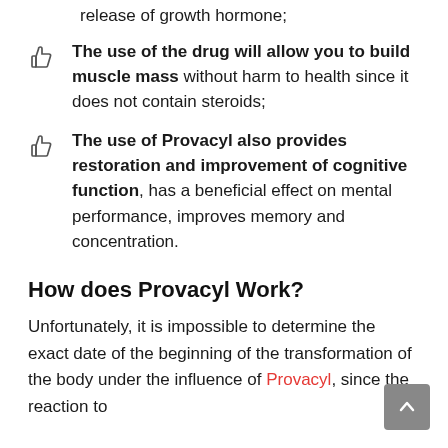release of growth hormone;
The use of the drug will allow you to build muscle mass without harm to health since it does not contain steroids;
The use of Provacyl also provides restoration and improvement of cognitive function, has a beneficial effect on mental performance, improves memory and concentration.
How does Provacyl Work?
Unfortunately, it is impossible to determine the exact date of the beginning of the transformation of the body under the influence of Provacyl, since the reaction to